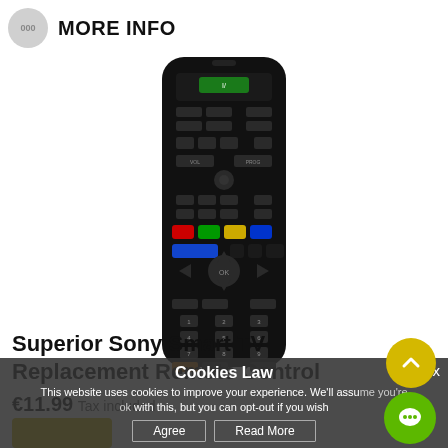MORE INFO
[Figure (photo): Black TV remote control with multiple buttons including colored (red, green, yellow, blue) buttons and directional pad, shown vertically]
Superior Sony Smart TV Replacement Remote Control
€11.99 Tax included
Cookies Law
This website uses cookies to improve your experience. We'll assume you're ok with this, but you can opt-out if you wish
Agree   Read More